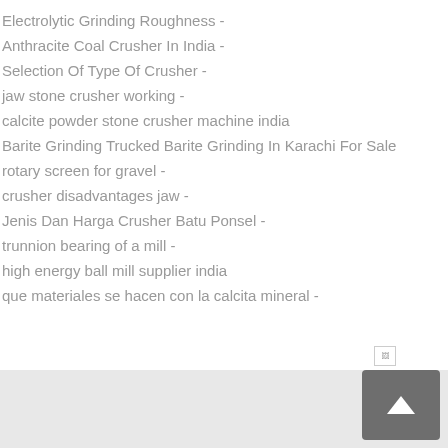Electrolytic Grinding Roughness -
Anthracite Coal Crusher In India -
Selection Of Type Of Crusher -
jaw stone crusher working -
calcite powder stone crusher machine india
Barite Grinding Trucked Barite Grinding In Karachi For Sale
rotary screen for gravel -
crusher disadvantages jaw -
Jenis Dan Harga Crusher Batu Ponsel -
trunnion bearing of a mill -
high energy ball mill supplier india
que materiales se hacen con la calcita mineral -